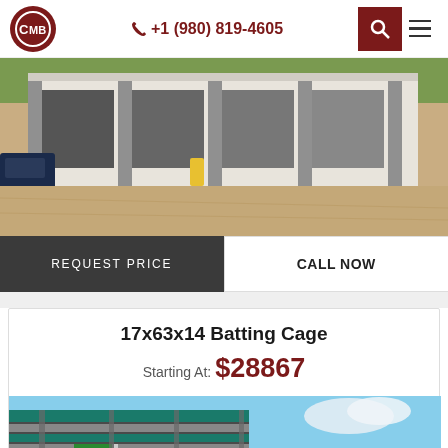CMB logo, +1 (980) 819-4605, search and menu icons
[Figure (photo): Aerial view of a metal building with multiple garage bays, vehicles parked outside, gravel/dirt ground]
REQUEST PRICE
CALL NOW
17x63x14 Batting Cage
Starting At: $28867
[Figure (photo): Exterior photo of a metal batting cage building with teal/green trim against a blue sky]